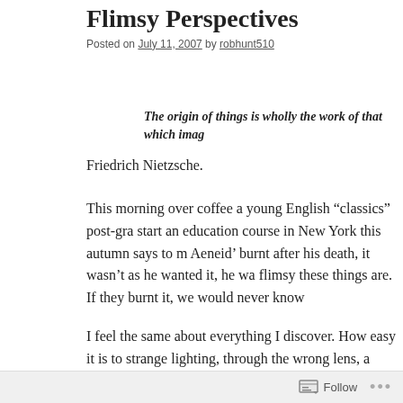Flimsy Perspectives
Posted on July 11, 2007 by robhunt510
The origin of things is wholly the work of that which imag
Friedrich Nietzsche.
This morning over coffee a young English “classics” post-gra start an education course in New York this autumn says to m Aeneid’ burnt after his death, it wasn’t as he wanted it, he wa flimsy these things are. If they burnt it, we would never know
I feel the same about everything I discover. How easy it is to strange lighting, through the wrong lens, a foreshortened pe what I have missed or distorted so far. Isn’t that the “Secret” Rose”? a burnt classic: was it Aristotle’s poetics…?
Virgil’s statue was destroyed here in 1399, as an idol, becaus
Follow